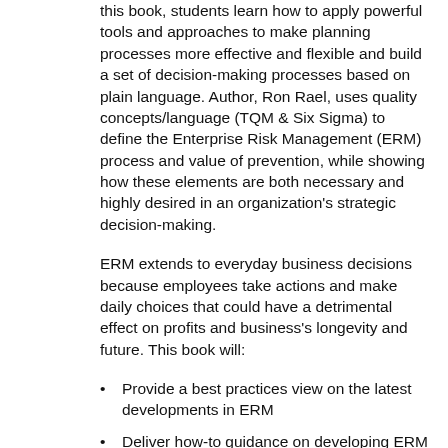this book, students learn how to apply powerful tools and approaches to make planning processes more effective and flexible and build a set of decision-making processes based on plain language. Author, Ron Rael, uses quality concepts/language (TQM & Six Sigma) to define the Enterprise Risk Management (ERM) process and value of prevention, while showing how these elements are both necessary and highly desired in an organization's strategic decision-making.
ERM extends to everyday business decisions because employees take actions and make daily choices that could have a detrimental effect on profits and business's longevity and future. This book will:
Provide a best practices view on the latest developments in ERM
Deliver how-to guidance on developing ERM processes at the